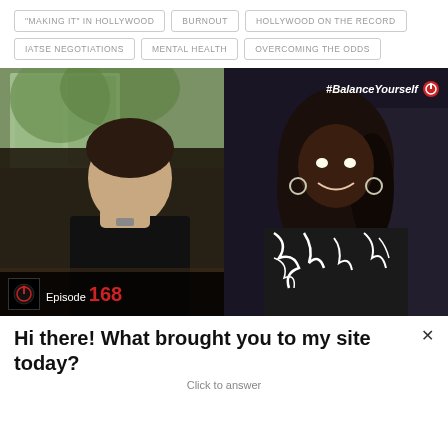"MAKING IT" IN HOLLYWOOD
BURNOUT
HOLLYWOOD ON THE RECORD
IATSE NEGOTIATIONS
MENTAL HEALTH
OVERCOMING THE ODDS
[Figure (photo): Split image showing two people: left side shows a man in a black t-shirt sitting with hand on chin, with green trees visible through window behind him; right side shows a smiling woman with curly hair wearing a black and white patterned top, with #BalanceYourself hashtag overlay in top right corner. Bottom left shows OPTIMIZE logo and 'Episode 168' text.]
Hi there! What brought you to my site today?
Click to answer